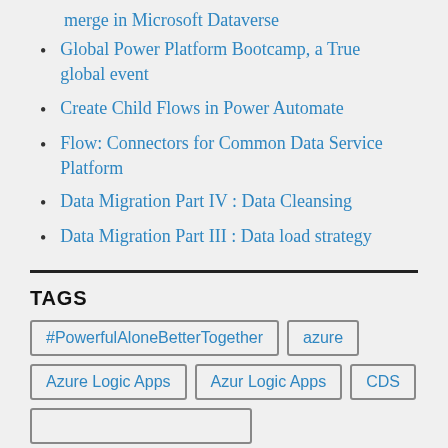merge in Microsoft Dataverse
Global Power Platform Bootcamp, a True global event
Create Child Flows in Power Automate
Flow: Connectors for Common Data Service Platform
Data Migration Part IV : Data Cleansing
Data Migration Part III : Data load strategy
TAGS
#PowerfulAloneBetterTogether  azure  Azure Logic Apps  Azur Logic Apps  CDS